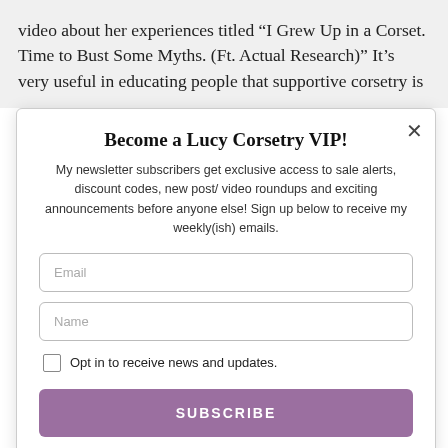video about her experiences titled “I Grew Up in a Corset. Time to Bust Some Myths. (Ft. Actual Research)” It’s very useful in educating people that supportive corsetry is
Become a Lucy Corsetry VIP!
My newsletter subscribers get exclusive access to sale alerts, discount codes, new post/ video roundups and exciting announcements before anyone else! Sign up below to receive my weekly(ish) emails.
Email
Name
Opt in to receive news and updates.
SUBSCRIBE